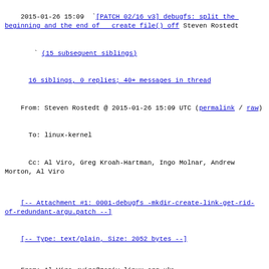2015-01-26 15:09  [PATCH 02/16 v3] debugfs: split the beginning and the end of  create file() off Steven Rostedt
(15 subsequent siblings)
16 siblings, 0 replies; 40+ messages in thread
From: Steven Rostedt @ 2015-01-26 15:09 UTC (permalink / raw)
To: linux-kernel
  Cc: Al Viro, Greg Kroah-Hartman, Ingo Molnar, Andrew Morton, Al Viro
[-- Attachment #1: 0001-debugfs -mkdir-create-link-get-rid-of-redundant-argu.patch --]
[-- Type: text/plain, Size: 2052 bytes --]
From: Al Viro <viro@zeniv.linux.org.uk>
Signed-off-by: Al Viro <viro@zeniv.linux.org.uk>
---
 fs/debugfs/inode.c | 17 +++++++++--------
 1 file changed, 9 insertions(+), 8 deletions(-)
diff --git a/fs/debugfs/inode.c b/fs/debugfs/inode.c
index 05f2960ed7c3..adaaa04448b3 100644
--- a/fs/debugfs/inode.c
+++ b/fs/debugfs/inode.c
@@ -89,8 +89,9 @@ static int debugfs_mknod(struct inode *dir, struct dentry *dentry,
        return error;
 }